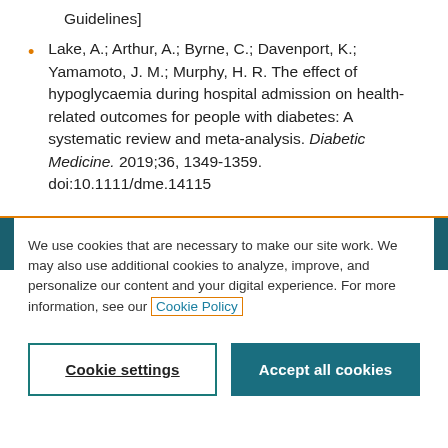Guidelines]
Lake, A.; Arthur, A.; Byrne, C.; Davenport, K.; Yamamoto, J. M.; Murphy, H. R. The effect of hypoglycaemia during hospital admission on health-related outcomes for people with diabetes: A systematic review and meta-analysis. Diabetic Medicine. 2019;36, 1349-1359. doi:10.1111/dme.14115
We use cookies that are necessary to make our site work. We may also use additional cookies to analyze, improve, and personalize our content and your digital experience. For more information, see our Cookie Policy
Cookie settings
Accept all cookies